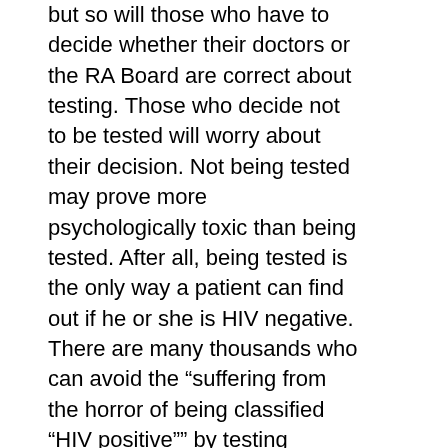but so will those who have to decide whether their doctors or the RA Board are correct about testing.  Those who decide not to be tested will worry about their decision.  Not being tested may prove more psychologically toxic than being tested.  After all, being tested is the only way a patient can find out if he or she is HIV negative.  There are many thousands who can avoid the “suffering from the horror of being classified “HIV positive”” by testing